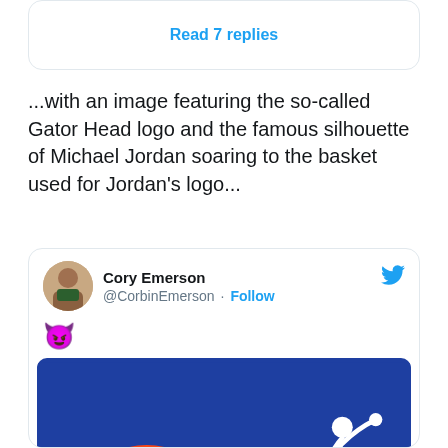[Figure (screenshot): Top of a tweet card showing 'Read 7 replies' link in blue]
...with an image featuring the so-called Gator Head logo and the famous silhouette of Michael Jordan soaring to the basket used for Jordan's logo...
[Figure (screenshot): Tweet by Cory Emerson (@CorbinEmerson) with a devil emoji and an image on a blue background showing the Florida Gators head logo, an X, and the Michael Jordan jumpman silhouette]